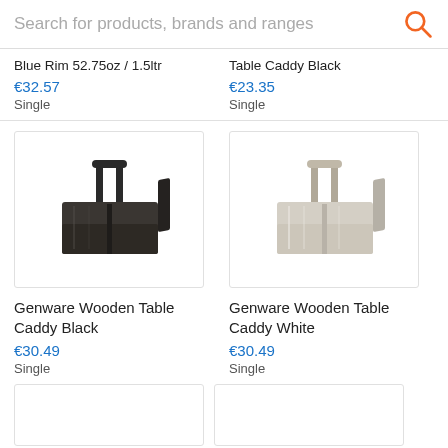Search for products, brands and ranges
Blue Rim 52.75oz / 1.5ltr
€32.57
Single
Table Caddy Black
€23.35
Single
[Figure (photo): Genware Wooden Table Caddy Black - dark stained wooden box with handle]
Genware Wooden Table Caddy Black
€30.49
Single
[Figure (photo): Genware Wooden Table Caddy White - whitewashed wooden box with handle]
Genware Wooden Table Caddy White
€30.49
Single